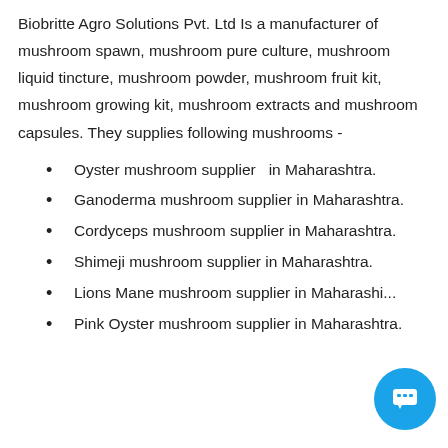Biobritte Agro Solutions Pvt. Ltd Is a manufacturer of mushroom spawn, mushroom pure culture, mushroom liquid tincture, mushroom powder, mushroom fruit kit, mushroom growing kit, mushroom extracts and mushroom capsules. They supplies following mushrooms -
Oyster mushroom supplier  in Maharashtra.
Ganoderma mushroom supplier in Maharashtra.
Cordyceps mushroom supplier in Maharashtra.
Shimeji mushroom supplier in Maharashtra.
Lions Mane mushroom supplier in Maharashtra.
Pink Oyster mushroom supplier in Maharashtra.